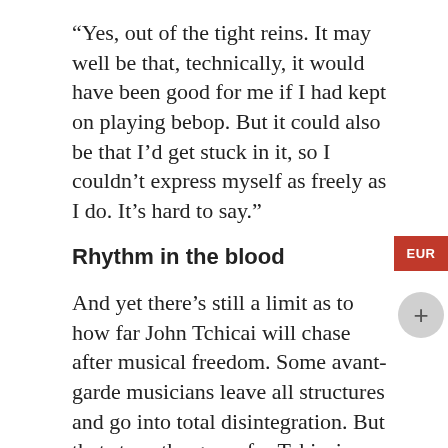“Yes, out of the tight reins. It may well be that, technically, it would have been good for me if I had kept on playing bebop. But it could also be that I’d get stuck in it, so I couldn’t express myself as freely as I do. It’s hard to say.”
Rhythm in the blood
And yet there’s still a limit as to how far John Tchicai will chase after musical freedom. Some avant-garde musicians leave all structures and go into total disintegration. But that stops the game for Tchicai – the music must be rhythmic.
“As it was, it bored me. For me, music is a breeze,